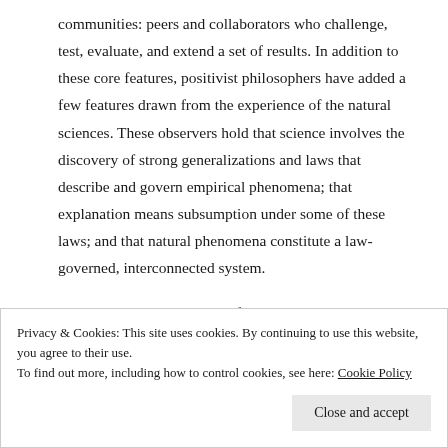communities: peers and collaborators who challenge, test, evaluate, and extend a set of results. In addition to these core features, positivist philosophers have added a few features drawn from the experience of the natural sciences. These observers hold that science involves the discovery of strong generalizations and laws that describe and govern empirical phenomena; that explanation means subsumption under some of these laws; and that natural phenomena constitute a law-governed, interconnected system.
Positivism is a poor theory of the social sciences, because the phenomena of social life do not conform to the law-governed ontology stipulated for natural phenomena. But let us stick with the
Privacy & Cookies: This site uses cookies. By continuing to use this website, you agree to their use. To find out more, including how to control cookies, see here: Cookie Policy